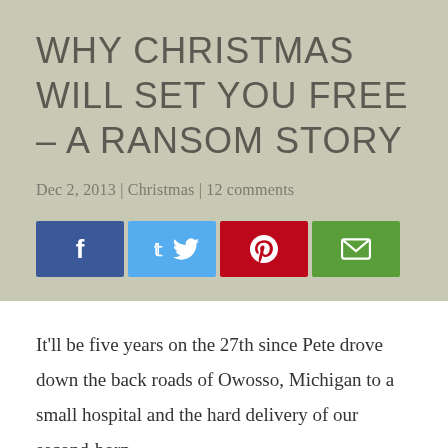WHY CHRISTMAS WILL SET YOU FREE – A RANSOM STORY
Dec 2, 2013 | Christmas | 12 comments
[Figure (other): Four social sharing buttons: Facebook (blue), Twitter (light blue), Pinterest (red), Email (green)]
It'll be five years on the 27th since Pete drove down the back roads of Owosso, Michigan to a small hospital and the hard delivery of our second-born